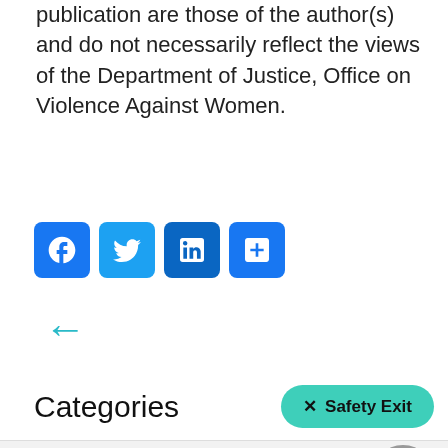publication are those of the author(s) and do not necessarily reflect the views of the Department of Justice, Office on Violence Against Women.
[Figure (other): Social media sharing icons: Facebook (blue), Twitter (light blue), LinkedIn (dark blue), Share (blue plus icon)]
← (back arrow navigation)
Categories
Safety Exit button
All News & Blog Posts
Announcements & Statements